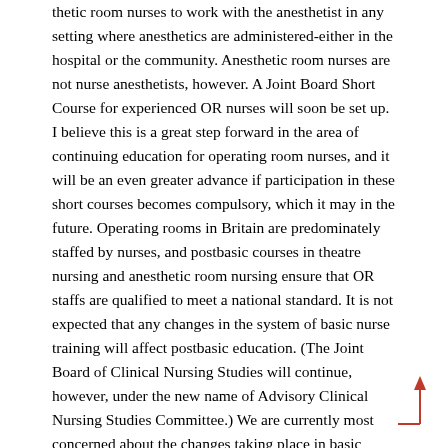thetic room nurses to work with the anesthetist in any setting where anesthetics are administered-either in the hospital or the community. Anesthetic room nurses are not nurse anesthetists, however. A Joint Board Short Course for experienced OR nurses will soon be set up. I believe this is a great step forward in the area of continuing education for operating room nurses, and it will be an even greater advance if participation in these short courses becomes compulsory, which it may in the future. Operating rooms in Britain are predominately staffed by nurses, and postbasic courses in theatre nursing and anesthetic room nursing ensure that OR staffs are qualified to meet a national standard. It is not expected that any changes in the system of basic nurse training will affect postbasic education. (The Joint Board of Clinical Nursing Studies will continue, however, under the new name of Advisory Clinical Nursing Studies Committee.) We are currently most concerned about the changes taking place in basic nurse training. The Committee of Nursing has recommended that there should be one basic 18-month course t h a t would lead to a basic statutory qualification-the certificate in nursing practice. In this program, OR nursing experience would be limited to the student accompanying a patient to the OR to observe